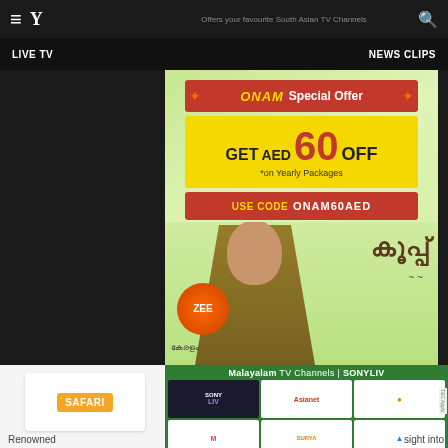Offers your favourite South Asian TV Channels
[Figure (screenshot): App navigation bar with hamburger menu, Y logo, LIVE TV nav item, NEWS CLIPS nav item, and search icon]
[Figure (infographic): ONAM Special Offer advertisement banner. GET AED 60 OFF on Yearly Packages. USE CODE ONAM60AED. Features Zee Kerala branding and a Malayalam TV show Kudukku with a man in brown jacket. Green and yellow gradient background.]
Malayalam TV Channels | SONYLIV
[Figure (screenshot): Channel grid showing SONY LIV, Asianet, and other Malayalam TV channel logos]
[Figure (logo): SAFARI channel logo in orange badge]
Renowned
sight into